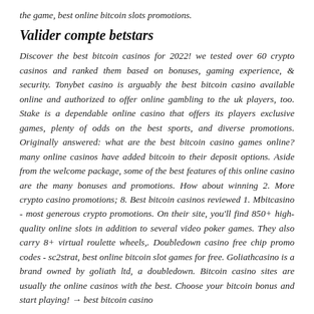the game, best online bitcoin slots promotions.
Valider compte betstars
Discover the best bitcoin casinos for 2022! we tested over 60 crypto casinos and ranked them based on bonuses, gaming experience, & security. Tonybet casino is arguably the best bitcoin casino available online and authorized to offer online gambling to the uk players, too. Stake is a dependable online casino that offers its players exclusive games, plenty of odds on the best sports, and diverse promotions. Originally answered: what are the best bitcoin casino games online? many online casinos have added bitcoin to their deposit options. Aside from the welcome package, some of the best features of this online casino are the many bonuses and promotions. How about winning 2. More crypto casino promotions; 8. Best bitcoin casinos reviewed 1. Mbitcasino - most generous crypto promotions. On their site, you'll find 850+ high-quality online slots in addition to several video poker games. They also carry 8+ virtual roulette wheels,. Doubledown casino free chip promo codes - sc2strat, best online bitcoin slot games for free. Goliathcasino is a brand owned by goliath ltd, a doubledown. Bitcoin casino sites are usually the online casinos with the best. Choose your bitcoin bonus and start playing! → best bitcoin casino